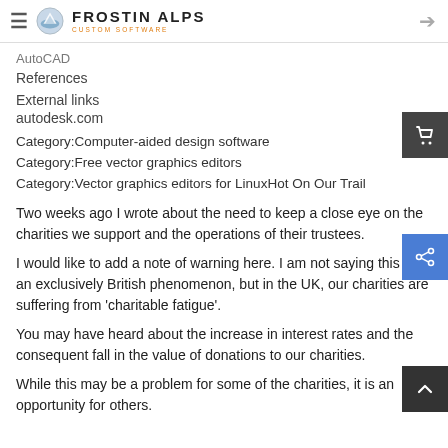Frostin Alps — Custom Software
AutoCAD
References
External links
autodesk.com
Category:Computer-aided design software
Category:Free vector graphics editors
Category:Vector graphics editors for LinuxHot On Our Trail
Two weeks ago I wrote about the need to keep a close eye on the charities we support and the operations of their trustees.
I would like to add a note of warning here. I am not saying this is an exclusively British phenomenon, but in the UK, our charities are suffering from 'charitable fatigue'.
You may have heard about the increase in interest rates and the consequent fall in the value of donations to our charities.
While this may be a problem for some of the charities, it is an opportunity for others.